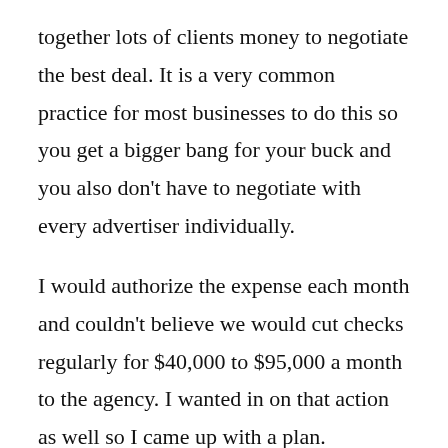together lots of clients money to negotiate the best deal. It is a very common practice for most businesses to do this so you get a bigger bang for your buck and you also don't have to negotiate with every advertiser individually.
I would authorize the expense each month and couldn't believe we would cut checks regularly for $40,000 to $95,000 a month to the agency. I wanted in on that action as well so I came up with a plan.
I told my boss we should consider opening up some bids to other agencies to save some